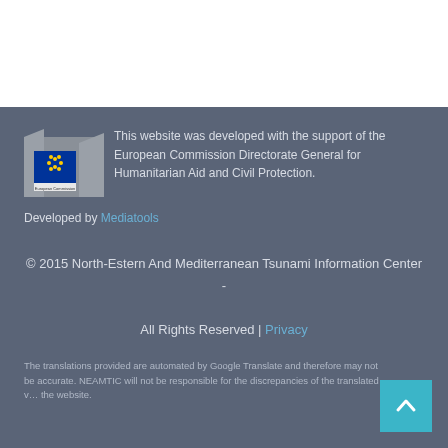[Figure (logo): European Commission logo with flag and text]
This website was developed with the support of the European Commission Directorate General for Humanitarian Aid and Civil Protection.
Developed by Mediatools
© 2015 North-Estern And Mediterranean Tsunami Information Center - All Rights Reserved | Privacy
The translations provided are automated by Google Translate and therefore may not be accurate. NEAMTIC will not be responsible for the discrepancies of the translated version with the website.